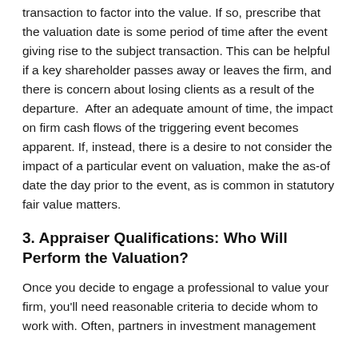transaction to factor into the value. If so, prescribe that the valuation date is some period of time after the event giving rise to the subject transaction. This can be helpful if a key shareholder passes away or leaves the firm, and there is concern about losing clients as a result of the departure.  After an adequate amount of time, the impact on firm cash flows of the triggering event becomes apparent. If, instead, there is a desire to not consider the impact of a particular event on valuation, make the as-of date the day prior to the event, as is common in statutory fair value matters.
3. Appraiser Qualifications: Who Will Perform the Valuation?
Once you decide to engage a professional to value your firm, you'll need reasonable criteria to decide whom to work with. Often, partners in investment management